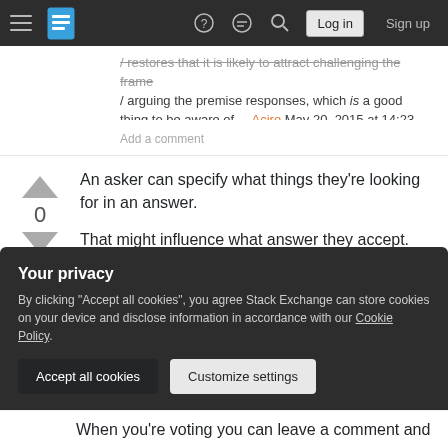Stack Exchange navigation bar with hamburger menu, logo, help, chat, search, Log in, Sign up
/ arguing the premise responses, which is a good thing to be aware of. – Acire May 20, 2015 at 14:23
Add a comment
An asker can specify what things they're looking for in an answer.
That might influence what answer they accept.
They can even place bounty on those restrictions.
Your privacy
By clicking "Accept all cookies", you agree Stack Exchange can store cookies on your device and disclose information in accordance with our Cookie Policy.
Accept all cookies
Customize settings
When you're voting you can leave a comment and